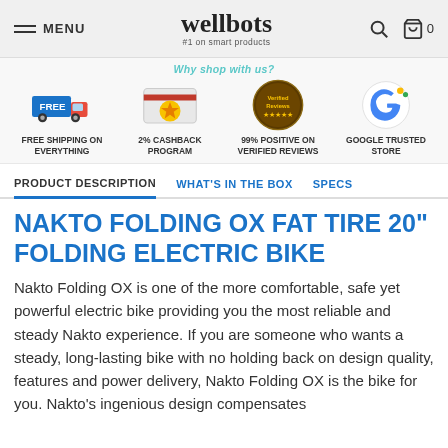MENU | wellbots #1 on smart products | Search | Cart 0
[Figure (infographic): Four promo icons: Free Shipping truck, 2% Cashback star badge, Verified Reviews badge, Google Trusted Store G logo]
FREE SHIPPING ON EVERYTHING | 2% CASHBACK PROGRAM | 99% POSITIVE ON VERIFIED REVIEWS | GOOGLE TRUSTED STORE
PRODUCT DESCRIPTION | WHAT'S IN THE BOX | SPECS
NAKTO FOLDING OX FAT TIRE 20" FOLDING ELECTRIC BIKE
Nakto Folding OX is one of the more comfortable, safe yet powerful electric bike providing you the most reliable and steady Nakto experience. If you are someone who wants a steady, long-lasting bike with no holding back on design quality, features and power delivery, Nakto Folding OX is the bike for you. Nakto's ingenious design compensates